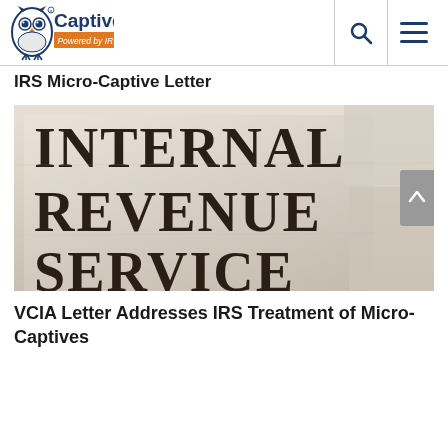Captive.com Powered by IRMI
IRS Micro-Captive Letter
[Figure (photo): Close-up photograph of the stone exterior of the Internal Revenue Service building with the words INTERNAL REVENUE SERVICE carved into the stone facade]
VCIA Letter Addresses IRS Treatment of Micro-Captives